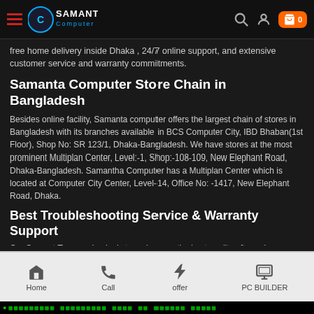Samanta Computer - navigation bar with logo, search, user, and cart icons
free home delivery inside Dhaka , 24/7 online support, and extensive customer service and warranty commitments.
Samanta Computer Store Chain in Bangladesh
Besides online facility, Samanta computer offers the largest chain of stores in Bangladesh with its branches available in BCS Computer City, IBD Bhaban(1st Floor), Shop No: SR 123/1, Dhaka-Bangladesh. We have stores at the most prominent Multiplan Center, Level:-1, Shop:-108-109, New Elephant Road, Dhaka-Bangladesh. Samantha Computer has a Multiplan Center which is located at Computer City Center, Level-14, Office No: -1417, New Elephant Road, Dhaka.
Best Troubleshooting Service & Warranty Support
Our Support Team main aim is to make sure the best quality after-sales
Home | Call | offer | PC BUILDER